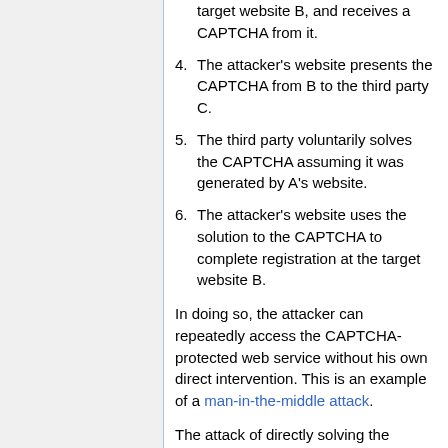target website B, and receives a CAPTCHA from it.
4. The attacker's website presents the CAPTCHA from B to the third party C.
5. The third party voluntarily solves the CAPTCHA assuming it was generated by A's website.
6. The attacker's website uses the solution to the CAPTCHA to complete registration at the target website B.
In doing so, the attacker can repeatedly access the CAPTCHA-protected web service without his own direct intervention. This is an example of a man-in-the-middle attack.
The attack of directly solving the CAPTCHA using a computer is becoming more and more viable, though